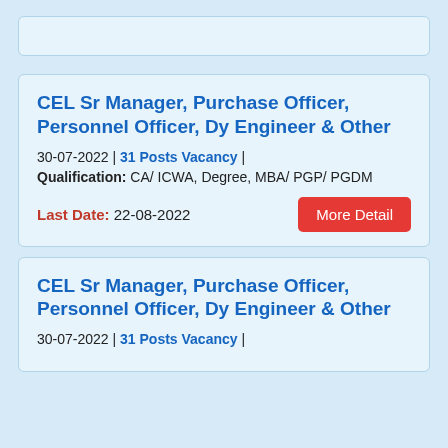CEL Sr Manager, Purchase Officer, Personnel Officer, Dy Engineer & Other
30-07-2022 | 31 Posts Vacancy |
Qualification: CA/ ICWA, Degree, MBA/ PGP/ PGDM
Last Date: 22-08-2022
CEL Sr Manager, Purchase Officer, Personnel Officer, Dy Engineer & Other
30-07-2022 | 31 Posts Vacancy |